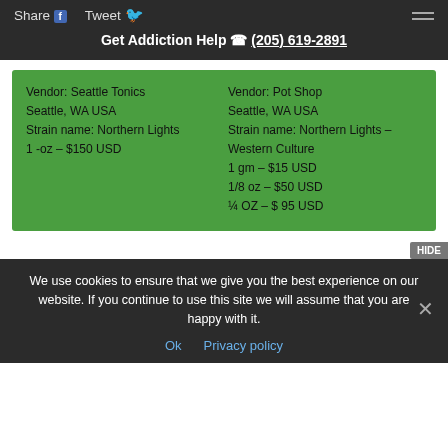Share  Tweet
Get Addiction Help  (205) 619-2891
Vendor: Seattle Tonics
Seattle, WA USA
Strain name: Northern Lights
1 -oz  – $150 USD
Vendor: Pot Shop
Seattle, WA USA
Strain name: Northern Lights – Western Culture
1 gm –  $15 USD
1/8 oz – $50 USD
¼ OZ – $ 95 USD
We use cookies to ensure that we give you the best experience on our website. If you continue to use this site we will assume that you are happy with it.
Ok  Privacy policy